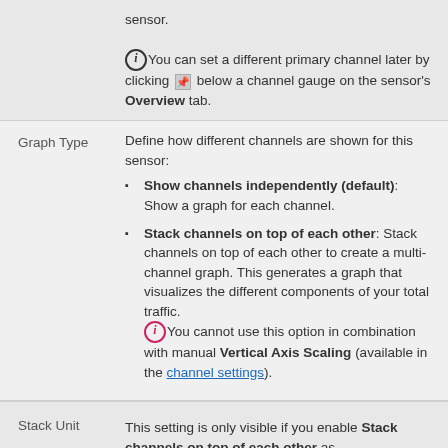sensor. You can set a different primary channel later by clicking [pin icon] below a channel gauge on the sensor's Overview tab.
Graph Type
Define how different channels are shown for this sensor:
Show channels independently (default): Show a graph for each channel.
Stack channels on top of each other: Stack channels on top of each other to create a multi-channel graph. This generates a graph that visualizes the different components of your total traffic. You cannot use this option in combination with manual Vertical Axis Scaling (available in the channel settings).
Stack Unit
This setting is only visible if you enable Stack channels on top of each other as